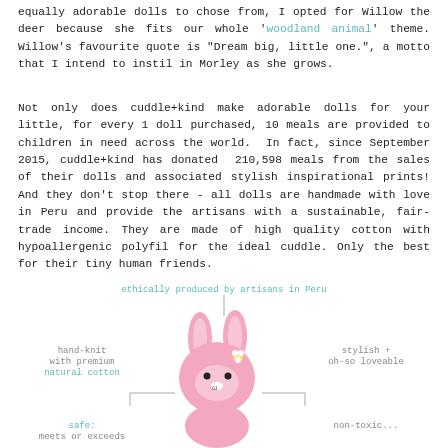equally adorable dolls to chose from, I opted for Willow the deer because she fits our whole 'woodland animal' theme. Willow's favourite quote is "Dream big, little one.", a motto that I intend to instil in Morley as she grows.
Not only does cuddle+kind make adorable dolls for your little, for every 1 doll purchased, 10 meals are provided to children in need across the world. In fact, since September 2015, cuddle+kind has donated 210,598 meals from the sales of their dolls and associated stylish inspirational prints! And they don't stop there - all dolls are handmade with love in Peru and provide the artisans with a sustainable, fair-trade income. They are made of high quality cotton with hypoallergenic polyfil for the ideal cuddle. Only the best for their tiny human friends.
[Figure (infographic): Infographic of a pink knitted bunny doll with labels pointing to its features: 'ethically produced by artisans in Peru' (top), 'hand-knit with premium natural cotton' (left, teal), 'stylish + oh-so loveable' (right), 'safe: meets or exceeds...' (bottom left, teal), 'non-toxic...' (bottom right)]